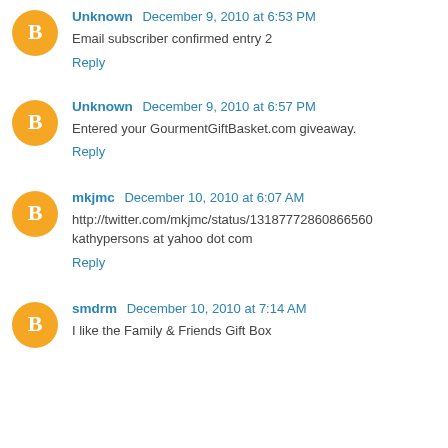Unknown December 9, 2010 at 6:53 PM
Email subscriber confirmed entry 2
Reply
Unknown December 9, 2010 at 6:57 PM
Entered your GourmentGiftBasket.com giveaway.
Reply
mkjmc December 10, 2010 at 6:07 AM
http://twitter.com/mkjmc/status/13187772860866560
kathypersons at yahoo dot com
Reply
smdrm December 10, 2010 at 7:14 AM
I like the Family & Friends Gift Box